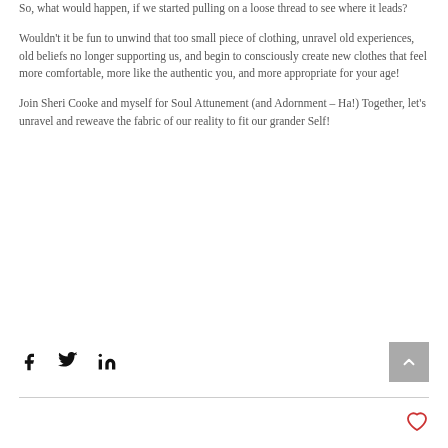So, what would happen, if we started pulling on a loose thread to see where it leads?
Wouldn't it be fun to unwind that too small piece of clothing, unravel old experiences, old beliefs no longer supporting us, and begin to consciously create new clothes that feel more comfortable, more like the authentic you, and more appropriate for your age!
Join Sheri Cooke and myself for Soul Attunement (and Adornment – Ha!) Together, let's unravel and reweave the fabric of our reality to fit our grander Self!
[Figure (other): Social share icons: Facebook, Twitter, LinkedIn; scroll-to-top button (grey square with up arrow)]
[Figure (other): Heart/like icon (red outline heart)]